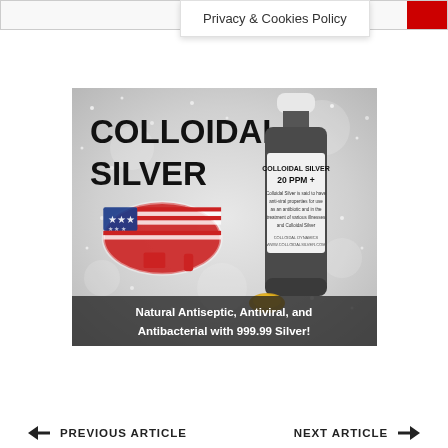Privacy & Cookies Policy
[Figure (photo): Advertisement image for Colloidal Silver product. Shows large bold text 'COLLOIDAL SILVER' on left, a USA map graphic with American flag colors, a dark bottle labeled 'COLLOIDAL SILVER 20 PPM +', and text at bottom: 'Natural Antiseptic, Antiviral, and Antibacterial with 999.99 Silver!']
← PREVIOUS ARTICLE     NEXT ARTICLE →